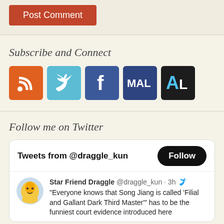[Figure (screenshot): Orange 'Post Comment' button]
Subscribe and Connect
[Figure (infographic): Row of social media icons: RSS (orange), Twitter (light blue), Facebook (blue), MAL (dark blue), AL (black)]
Follow me on Twitter
[Figure (screenshot): Twitter widget showing 'Tweets from @draggle_kun' with a Follow button, and a tweet by Star Friend Draggle @draggle_kun · 3h: 'Everyone knows that Song Jiang is called Filial and Gallant Dark Third Master' has to be the funniest court evidence introduced here]